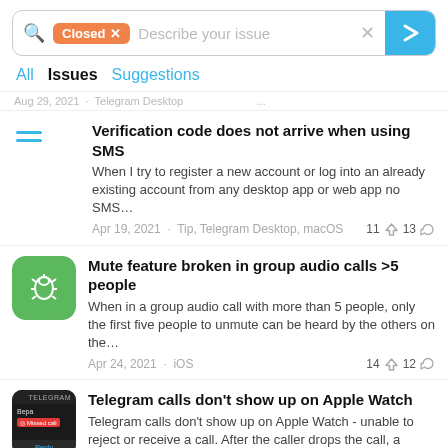[Figure (screenshot): Search bar with orange 'Closed x' filter tag and placeholder text 'Describe your issue', with blue arrow submit button]
All  Issues  Suggestions
Aug 29, 2021 · Telegram Desktop ...
Verification code does not arrive when using SMS
When I try to register a new account or log into an already existing account from any desktop app or web app no SMS…
Apr 19, 2021 · Tip, Telegram Desktop, macOS   11 ↩ 13 👍
Mute feature broken in group audio calls >5 people
When in a group audio call with more than 5 people, only the first five people to unmute can be heard by the others on the…
Apr 24, 2021 · iOS   14 ↩ 12 👍
Telegram calls don't show up on Apple Watch
Telegram calls don't show up on Apple Watch - unable to reject or receive a call. After the caller drops the call, a miss…
Jan 24, 2021 · iOS   4 ↩ 11 👍